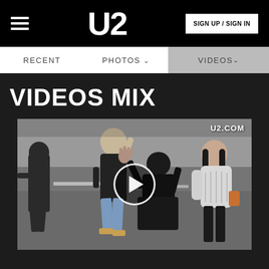U2 — SIGN UP / SIGN IN
RECENT   PHOTOS ∨   VIDEOS ∨
VIDEOS MIX
[Figure (screenshot): Video thumbnail showing people walking on a street waving, with a play button overlay in the center and U2.COM watermark in top right corner]